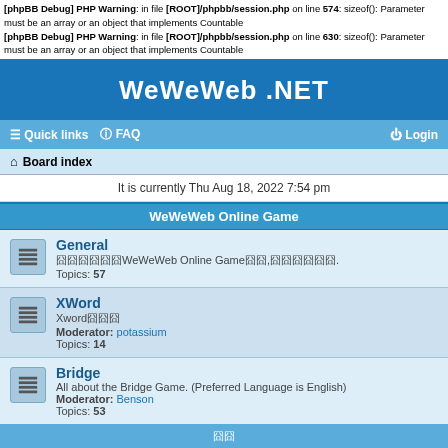[phpBB Debug] PHP Warning: in file [ROOT]/phpbb/session.php on line 574: sizeof(): Parameter must be an array or an object that implements Countable
[phpBB Debug] PHP Warning: in file [ROOT]/phpbb/session.php on line 630: sizeof(): Parameter must be an array or an object that implements Countable
WeWeWeb .NET
Quick links  FAQ  Login
Board index
It is currently Thu Aug 18, 2022 7:54 pm
WeWeWeb Online Game
General
囧囧囧囧囧囧WeWeWeb Online Game囧囧,囧囧囧囧囧囧.
Topics: 57
XWord
Xword囧囧囧
Moderator: potassium
Topics: 14
Bridge
All about the Bridge Game. (Preferred Language is English)
Moderator: Benson
Topics: 53
囧囧
囧囧囧囧囧...
Topics: 3
囧囧